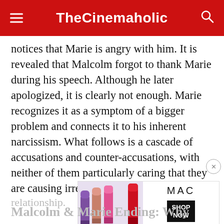TheCinemaholic
notices that Marie is angry with him. It is revealed that Malcolm forgot to thank Marie during his speech. Although he later apologized, it is clearly not enough. Marie recognizes it as a symptom of a bigger problem and connects it to his inherent narcissism. What follows is a cascade of accusations and counter-accusations, with neither of them particularly caring that they are causing irreparable damage to their relationship.
[Figure (photo): MAC cosmetics advertisement banner showing colorful lipsticks on the left and MAC logo with SHOP NOW button on the right]
Malcolm & Marie Ending: Why